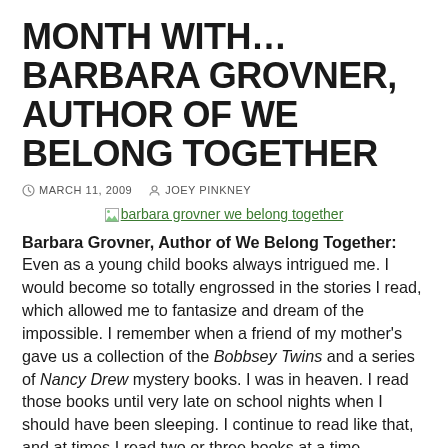MONTH WITH… BARBARA GROVNER, AUTHOR OF WE BELONG TOGETHER
MARCH 11, 2009   JOEY PINKNEY
[Figure (other): Broken image placeholder link for 'barbara grovner we belong together']
Barbara Grovner, Author of We Belong Together: Even as a young child books always intrigued me. I would become so totally engrossed in the stories I read, which allowed me to fantasize and dream of the impossible. I remember when a friend of my mother's gave us a collection of the Bobbsey Twins and a series of Nancy Drew mystery books. I was in heaven. I read those books until very late on school nights when I should have been sleeping. I continue to read like that, and at times I read two or three books at a time.